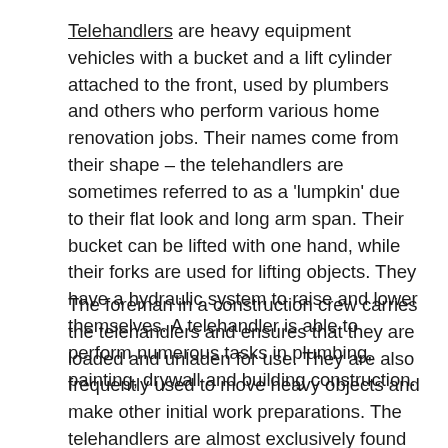Telehandlers are heavy equipment vehicles with a bucket and a lift cylinder attached to the front, used by plumbers and others who perform various home renovation jobs. Their names come from their shape – the telehandlers are sometimes referred to as a 'lumpkin' due to their flat look and long arm span. Their bucket can be lifted with one hand, while their forks are used for lifting objects. They have a hydraulic system to raise and lower themselves. A telehandler is able to perform numerous tasks in plumbing, painting, drywall and building construction.
The foreman in a construction crew carries the telehandlers and ensures that they are loaded and unladen for use. They are also frequently used to move heavy objects and make other initial work preparations. The telehandlers are almost exclusively found in road construction and other heavy industrial operations. These